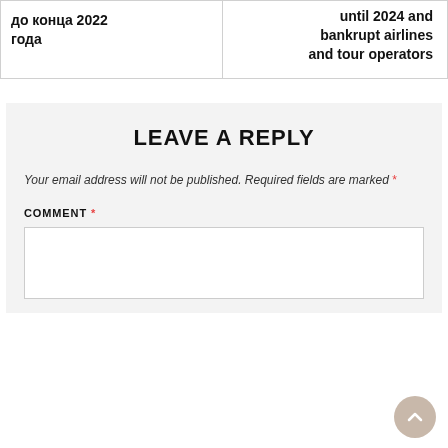до конца 2022 года
until 2024 and bankrupt airlines and tour operators
LEAVE A REPLY
Your email address will not be published. Required fields are marked *
COMMENT *